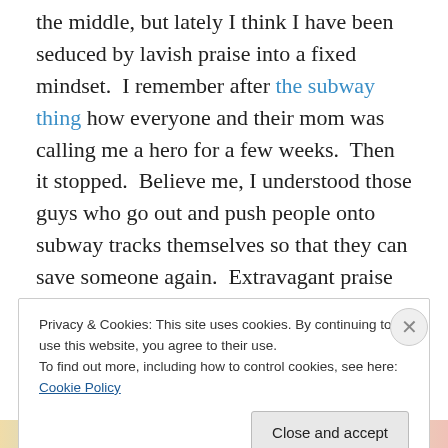the middle, but lately I think I have been seduced by lavish praise into a fixed mindset.  I remember after the subway thing how everyone and their mom was calling me a hero for a few weeks.  Then it stopped.  Believe me, I understood those guys who go out and push people onto subway tracks themselves so that they can save someone again.  Extravagant praise of talent and ability is addicting, and, if Dweck is right, corrupting.

Some of you are probably thinking, “hah!  Woe is Jer!  It must be so hard that everyone likes you.”  I would say,
Privacy & Cookies: This site uses cookies. By continuing to use this website, you agree to their use.
To find out more, including how to control cookies, see here: Cookie Policy